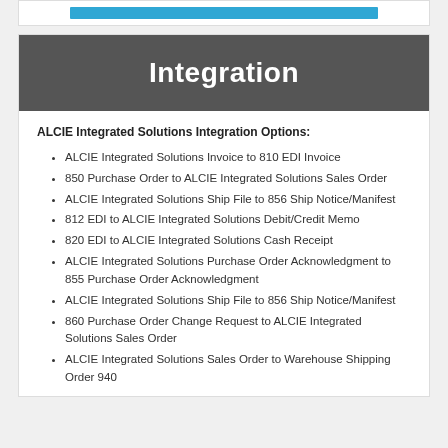Integration
ALCIE Integrated Solutions Integration Options:
ALCIE Integrated Solutions Invoice to 810 EDI Invoice
850 Purchase Order to ALCIE Integrated Solutions Sales Order
ALCIE Integrated Solutions Ship File to 856 Ship Notice/Manifest
812 EDI to ALCIE Integrated Solutions Debit/Credit Memo
820 EDI to ALCIE Integrated Solutions Cash Receipt
ALCIE Integrated Solutions Purchase Order Acknowledgment to 855 Purchase Order Acknowledgment
ALCIE Integrated Solutions Ship File to 856 Ship Notice/Manifest
860 Purchase Order Change Request to ALCIE Integrated Solutions Sales Order
ALCIE Integrated Solutions Sales Order to Warehouse Shipping Order 940